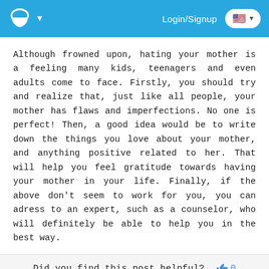Login/Signup
Although frowned upon, hating your mother is a feeling many kids, teenagers and even adults come to face. Firstly, you should try and realize that, just like all people, your mother has flaws and imperfections. No one is perfect! Then, a good idea would be to write down the things you love about your mother, and anything positive related to her. That will help you feel gratitude towards having your mother in your life. Finally, if the above don't seem to work for you, you can adress to an expert, such as a counselor, who will definitely be able to help you in the best way.
Did you find this post helpful? 👍 0